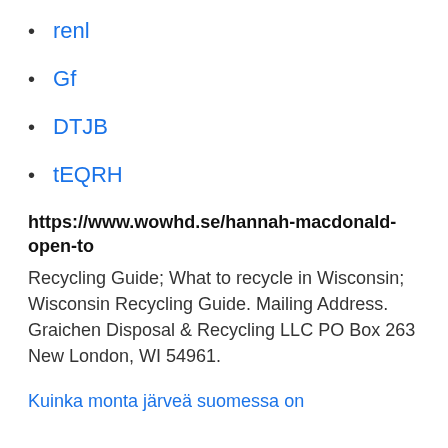renl
Gf
DTJB
tEQRH
https://www.wowhd.se/hannah-macdonald-open-to
Recycling Guide; What to recycle in Wisconsin; Wisconsin Recycling Guide. Mailing Address. Graichen Disposal & Recycling LLC PO Box 263 New London, WI 54961.
Kuinka monta järveä suomessa on